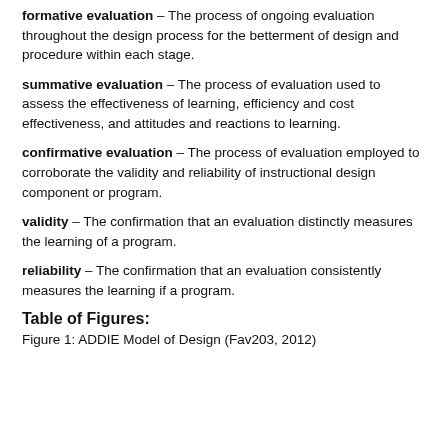formative evaluation – The process of ongoing evaluation throughout the design process for the betterment of design and procedure within each stage.
summative evaluation – The process of evaluation used to assess the effectiveness of learning, efficiency and cost effectiveness, and attitudes and reactions to learning.
confirmative evaluation – The process of evaluation employed to corroborate the validity and reliability of instructional design component or program.
validity – The confirmation that an evaluation distinctly measures the learning of a program.
reliability – The confirmation that an evaluation consistently measures the learning if a program.
Table of Figures:
Figure 1: ADDIE Model of Design (Fav203, 2012)